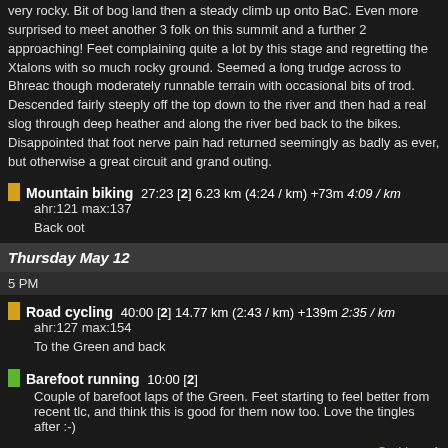very rocky. Bit of bog land then a steady climb up onto BaC. Even more surprised to meet another 3 folk on this summit and a further 2 approaching! Feet complaining quite a lot by this stage and regretting the Xtalons with so much rocky ground. Seemed a long trudge across to Bhreac though moderately runnable terrain with occasional bits of trod. Descended fairly steeply off the top down to the river and then had a real slog through deep heather and along the river bed back to the bikes. Disappointed that foot nerve pain had returned seemingly as badly as ever, but otherwise a great circuit and grand outing.
Mountain biking 27:23 [2] 6.23 km (4:24 / km) +73m 4:09 / km ahr:121 max:137 Back oot
Thursday May 12
5 PM
Road cycling 40:00 [2] 14.77 km (2:43 / km) +139m 2:35 / km ahr:127 max:154 To the Green and back
Barefoot running 10:00 [2] Couple of barefoot laps of the Green. Feet starting to feel better from recent tlc, and think this is good for them now too. Love the tingles after :-)
C • I love 1
Wednesday May 11
9 AM
Running 2:45:00 [3] 16.13 km (10:14 / km) +821m 8:09 / km